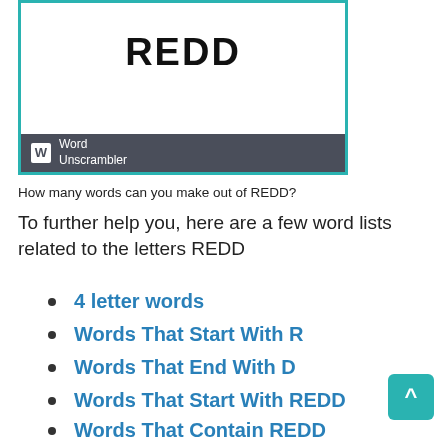[Figure (other): Word Unscrambler card showing the word REDD in large bold text, with a teal border and dark footer bar with Word Unscrambler logo and text]
How many words can you make out of REDD?
To further help you, here are a few word lists related to the letters REDD
4 letter words
Words That Start With R
Words That End With D
Words That Start With REDD
Words That Contain REDD